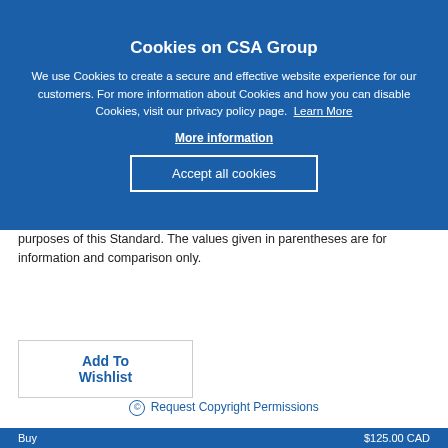Cookies on CSA Group
We use Cookies to create a secure and effective website experience for our customers. For more information about Cookies and how you can disable Cookies, visit our privacy policy page.  Learn More
More information
Accept all cookies
purposes of this Standard. The values given in parentheses are for information and comparison only.
Add To Wishlist
© Request Copyright Permissions
Buy  $125.00 CAD